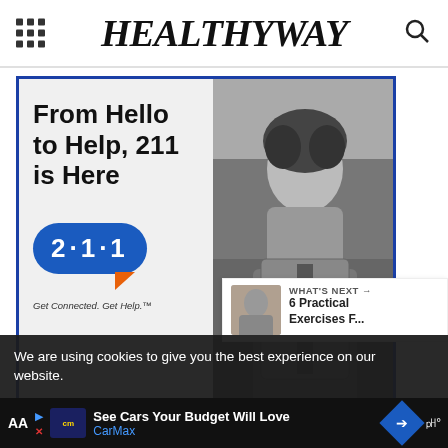HEALTHYWAY
[Figure (infographic): 211 advertisement: 'From Hello to Help, 211 is Here' with 211 logo badge and tagline 'Get Connected. Get Help.' alongside a black and white photo of a young woman in a denim jacket.]
1
WHAT'S NEXT → 6 Practical Exercises F...
We are using cookies to give you the best experience on our website.
See Cars Your Budget Will Love CarMax